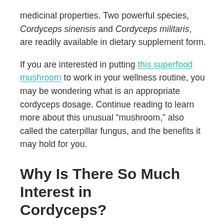medicinal properties. Two powerful species, Cordyceps sinensis and Cordyceps militaris, are readily available in dietary supplement form.
If you are interested in putting this superfood mushroom to work in your wellness routine, you may be wondering what is an appropriate cordyceps dosage. Continue reading to learn more about this unusual “mushroom,” also called the caterpillar fungus, and the benefits it may hold for you.
Why Is There So Much Interest in Cordyceps?
Cordyceps are found naturally in the humid temperate and tropical forests throughout Asia